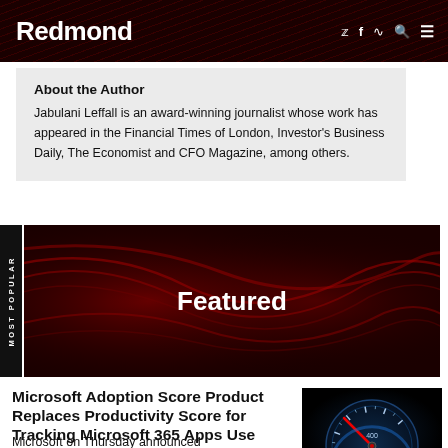Redmond
About the Author
Jabulani Leffall is an award-winning journalist whose work has appeared in the Financial Times of London, Investor's Business Daily, The Economist and CFO Magazine, among others.
[Figure (other): Featured banner with dark red abstract waving lines background and white bold 'Featured' text centered]
Microsoft Adoption Score Product Replaces Productivity Score for Tracking Microsoft 365 Apps Use
Microsoft on Thursday announced
[Figure (photo): Photo of a car speedometer with red needle pointing high, dark background with blue-lit gauge]